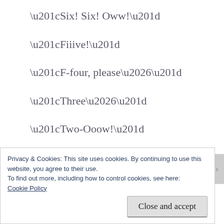“Six! Six! Oww!”
“Fiiive!”
“F-four, please…”
“Three…”
“Two-Ooow!”
“One! One!”
Privacy & Cookies: This site uses cookies. By continuing to use this website, you agree to their use.
To find out more, including how to control cookies, see here: Cookie Policy
Close and accept